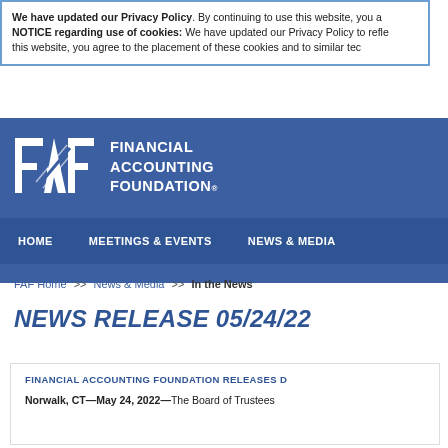We have updated our Privacy Policy. By continuing to use this website, you a NOTICE regarding use of cookies: We have updated our Privacy Policy to refle this website, you agree to the placement of these cookies and to similar tec
[Figure (logo): Financial Accounting Foundation (FAF) logo with white FAF letters and diagonal lines on blue background, with FINANCIAL ACCOUNTING FOUNDATION text]
HOME   MEETINGS & EVENTS   NEWS & MEDIA
FAF Home >> News & Media >> In the News
NEWS RELEASE 05/24/22
FINANCIAL ACCOUNTING FOUNDATION RELEASES D
Norwalk, CT—May 24, 2022—The Board of Trustees